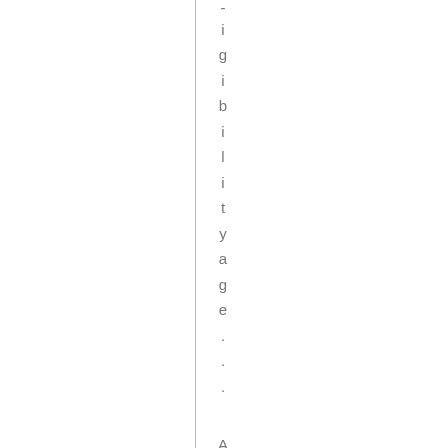-igibility age ...
Also.
Russia